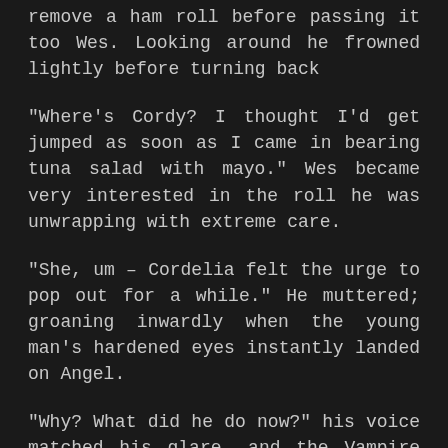remove a ham roll before passing it too Wes. Looking around he frowned lightly before turning back
“Where’s Cordy? I thought I’d get jumped as soon as I came in bearing tuna salad with mayo.” Wes became very interested in the roll he was unwrapping with extreme care.
“She, um – Cordelia felt the urge to pop out for a while.” He muttered; groaning inwardly when the young man’s hardened eyes instantly landed on Angel.
“Why? What did he do now?” his voice matched his glare, and the Vampire had to stifle the growl that rolled through his chest at the accusing look. Turning away, he again pinned his gaze resolutely on the main